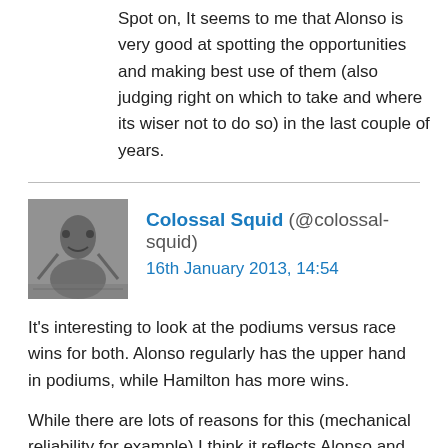Spot on, It seems to me that Alonso is very good at spotting the opportunities and making best use of them (also judging right on which to take and where its wiser not to do so) in the last couple of years.
Colossal Squid (@colossal-squid) 16th January 2013, 14:54
It's interesting to look at the podiums versus race wins for both. Alonso regularly has the upper hand in podiums, while Hamilton has more wins.
While there are lots of reasons for this (mechanical reliability for example) I think it reflects Alonso and Hamilton quite well: Lewis has blistering speed and an aggressive driving style, while Alonso is arguably slower, but more tactical and circumspect and above all, consistent.